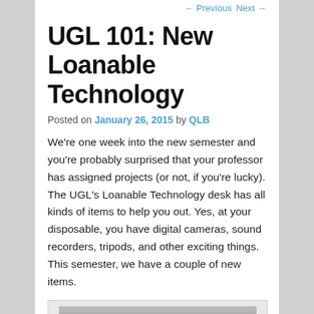← Previous   Next →
UGL 101: New Loanable Technology
Posted on January 26, 2015 by QLB
We're one week into the new semester and you're probably surprised that your professor has assigned projects (or not, if you're lucky). The UGL's Loanable Technology desk has all kinds of items to help you out. Yes, at your disposable, you have digital cameras, sound recorders, tripods, and other exciting things. This semester, we have a couple of new items.
[Figure (photo): Two black portable speakers shown side by side against a grey background]